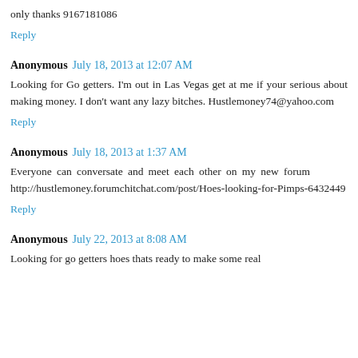only thanks 9167181086
Reply
Anonymous July 18, 2013 at 12:07 AM
Looking for Go getters. I'm out in Las Vegas get at me if your serious about making money. I don't want any lazy bitches. Hustlemoney74@yahoo.com
Reply
Anonymous July 18, 2013 at 1:37 AM
Everyone can conversate and meet each other on my new forum        http://hustlemoney.forumchitchat.com/post/Hoes-looking-for-Pimps-6432449
Reply
Anonymous July 22, 2013 at 8:08 AM
Looking for go getters hoes thats ready to make some real